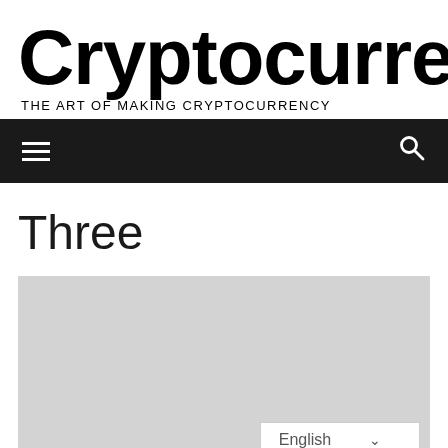Cryptocurrency
THE ART OF MAKING CRYPTOCURRENCY
≡  🔍
Three
[Figure (other): Gray image placeholder area with an English language selector dropdown in the bottom right corner]